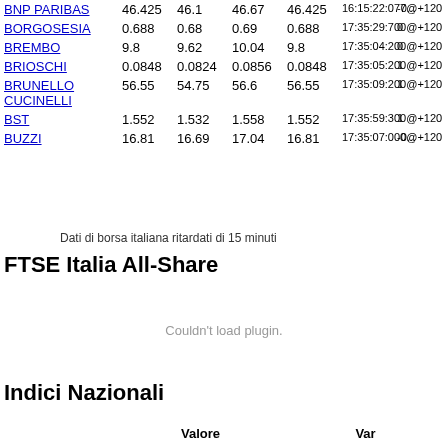|  |  |  |  |  |  |  |
| --- | --- | --- | --- | --- | --- | --- |
| BNP PARIBAS | 46.425 | 46.1 | 46.67 | 46.425 | 16:15:22:077@+120 | -0... |
| BORGOSESIA | 0.688 | 0.68 | 0.69 | 0.688 | 17:35:29:700@+120 | 0 |
| BREMBO | 9.8 | 9.62 | 10.04 | 9.8 | 17:35:04:200@+120 | 0 |
| BRIOSCHI | 0.0848 | 0.0824 | 0.0856 | 0.0848 | 17:35:05:200@+120 | 1 |
| BRUNELLO CUCINELLI | 56.55 | 54.75 | 56.6 | 56.55 | 17:35:09:200@+120 | 1 |
| BST | 1.552 | 1.532 | 1.558 | 1.552 | 17:35:59:300@+120 | 1 |
| BUZZI | 16.81 | 16.69 | 17.04 | 16.81 | 17:35:07:000@+120 | -0... |
Dati di borsa italiana ritardati di 15 minuti
FTSE Italia All-Share
[Figure (other): Plugin area showing 'Couldn't load plugin.' message]
Indici Nazionali
| Valore | Var |
| --- | --- |